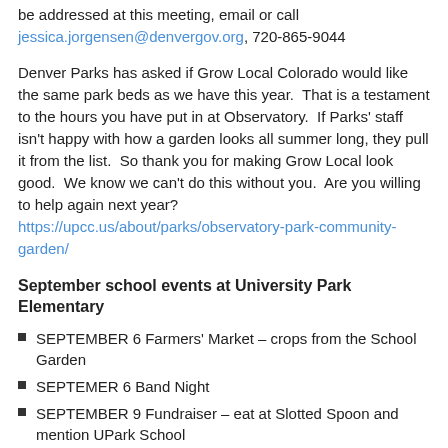be addressed at this meeting, email or call jessica.jorgensen@denvergov.org, 720-865-9044
Denver Parks has asked if Grow Local Colorado would like the same park beds as we have this year.  That is a testament to the hours you have put in at Observatory.  If Parks' staff isn't happy with how a garden looks all summer long, they pull it from the list.  So thank you for making Grow Local look good.  We know we can't do this without you.  Are you willing to help again next year? https://upcc.us/about/parks/observatory-park-community-garden/
September school events at University Park Elementary
SEPTEMBER 6 Farmers' Market – crops from the School Garden
SEPTEM​ER 6 Band Night
SEPTEMBER 9 Fundraiser – eat at Slotted Spoon and mention UPark School